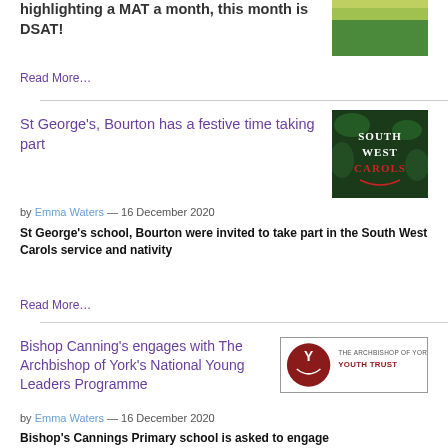highlighting a MAT a month, this month is DSAT!
Read More…
St George's, Bourton has a festive time taking part
by Emma Waters — 16 December 2020
St George's school, Bourton were invited to take part in the South West Carols service and nativity
Read More…
Bishop Canning's engages with The Archbishop of York's National Young Leaders Programme
by Emma Waters — 16 December 2020
Bishop's Cannings Primary school is asked to engage